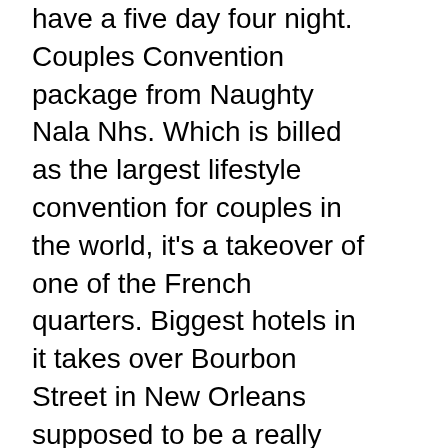have a five day four night. Couples Convention package from Naughty Nala Nhs. Which is billed as the largest lifestyle convention for couples in the world, it's a takeover of one of the French quarters. Biggest hotels in it takes over Bourbon Street in New Orleans supposed to be a really wild party and they're giving us a four night five day pass. We have a really essential prize pack from our good friends at Astra. Glide all the slippery stuff that you need. Or of course we're going to be giving away multiple copies of our book. Courtesy of the maximum housing group. In Atlanta, some conference registrations to passes for sex down South A A, complimentary coaching, session or workshop from Velvet Lips via Marla and one of my online courses of your choice from happier couples dot com, so we've got some cool stuff lined up hoping that you will join us, and we've got prizes for best dressed best background, best social media fan and a